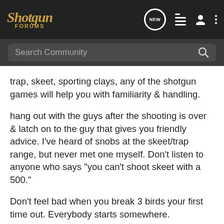Shotgun FORUMS
trap, skeet, sporting clays, any of the shotgun games will help you with familiarity & handling.
hang out with the guys after the shooting is over & latch on to the guy that gives you friendly advice. I've heard of snobs at the skeet/trap range, but never met one myself. Don't listen to anyone who says "you can't shoot skeet with a 500."
Don't feel bad when you break 3 birds your first time out. Everybody starts somewhere.
$.02
[Figure (screenshot): Cabela's advertisement banner: 'HIGHEST-RATED GEAR' with 4.9 star rating and crossbow image]